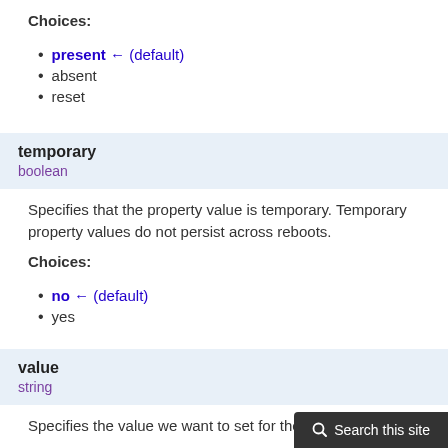Choices:
present ← (default)
absent
reset
temporary
boolean
Specifies that the property value is temporary. Temporary property values do not persist across reboots.
Choices:
no ← (default)
yes
value
string
Specifies the value we want to set for the property.